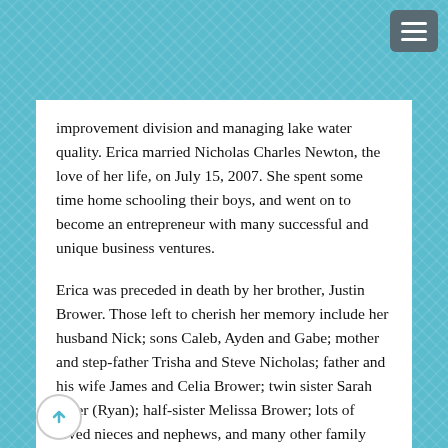improvement division and managing lake water quality. Erica married Nicholas Charles Newton, the love of her life, on July 15, 2007. She spent some time home schooling their boys, and went on to become an entrepreneur with many successful and unique business ventures.
Erica was preceded in death by her brother, Justin Brower. Those left to cherish her memory include her husband Nick; sons Caleb, Ayden and Gabe; mother and step-father Trisha and Steve Nicholas; father and his wife James and Celia Brower; twin sister Sarah Tyler (Ryan); half-sister Melissa Brower; lots of loved nieces and nephews, and many other family members.